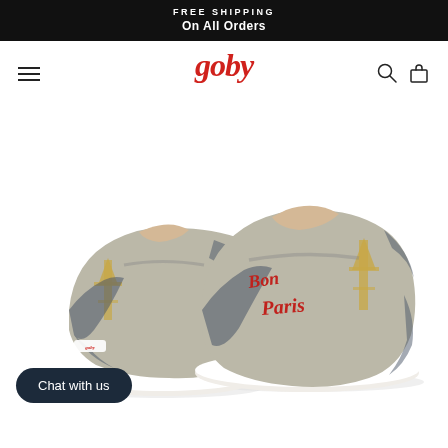FREE SHIPPING
On All Orders
[Figure (logo): Goby brand logo in red italic serif font]
[Figure (photo): A pair of slip-on sneakers with Paris/Eiffel Tower print and red 'Bon Paris' cursive text on the sides, white soles, beige interior lining]
Chat with us